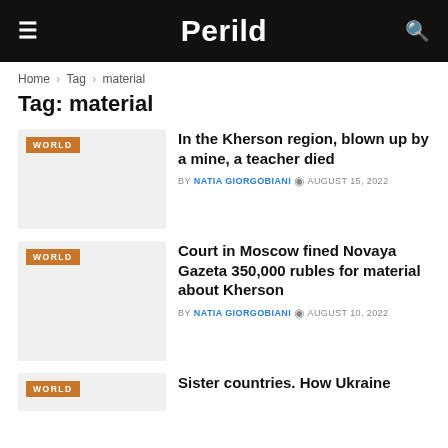Perild
Home > Tag > material
Tag: material
In the Kherson region, blown up by a mine, a teacher died
BY NATIA GIORGOBIANI  AUGUST 15, 2022
Court in Moscow fined Novaya Gazeta 350,000 rubles for material about Kherson
BY NATIA GIORGOBIANI  AUGUST 10, 2022
Sister countries. How Ukraine